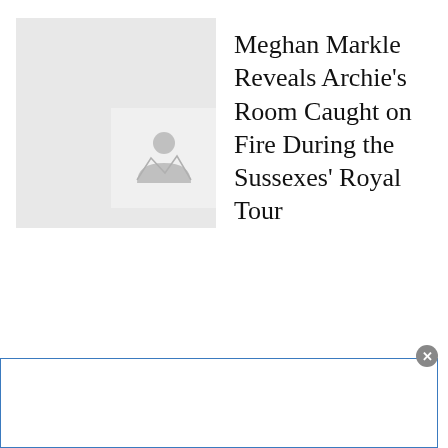[Figure (photo): Placeholder image thumbnail with a grey background and a small image placeholder icon in the bottom-right corner]
Meghan Markle Reveals Archie's Room Caught on Fire During the Sussexes' Royal Tour
[Figure (other): Advertisement bar at the bottom of the page with a blue border and a close button (X) in the top-right corner]